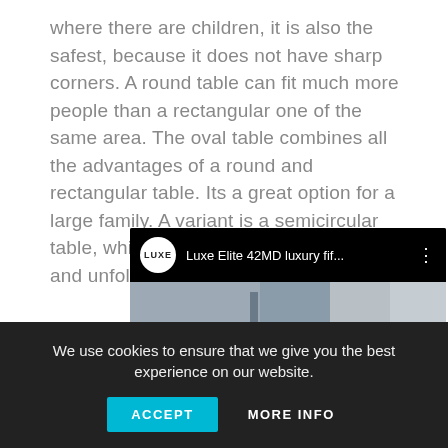where there are children, it is also the safest, because it does not have sharp corners. A round table can fit much more people than a rectangular one of the same area. The oval table combines all the advantages of a round and rectangular table. Its a great option for a large family. A variant is a semicircular table, which, if necessary, can be folded and unfolded.
[Figure (screenshot): Embedded YouTube-style video thumbnail showing Luxe Elite 42MD luxury video with LUXE logo circle, video title 'Luxe Elite 42MD luxury fif...', three-dot menu, a red YouTube play button, and LUXE watermark text over a room interior background.]
We use cookies to ensure that we give you the best experience on our website.
ACCEPT    MORE INFO